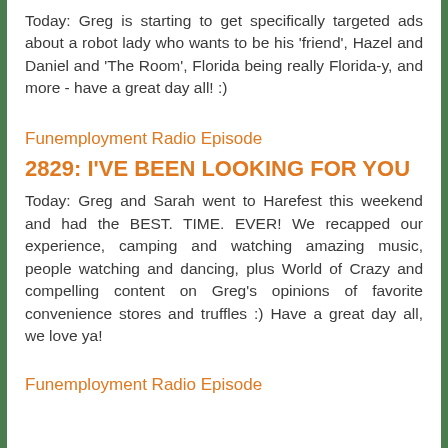Today: Greg is starting to get specifically targeted ads about a robot lady who wants to be his 'friend', Hazel and Daniel and 'The Room', Florida being really Florida-y, and more - have a great day all! :)
Funemployment Radio Episode 2829: I'VE BEEN LOOKING FOR YOU
Today: Greg and Sarah went to Harefest this weekend and had the BEST. TIME. EVER! We recapped our experience, camping and watching amazing music, people watching and dancing, plus World of Crazy and compelling content on Greg's opinions of favorite convenience stores and truffles :) Have a great day all, we love ya!
Funemployment Radio Episode